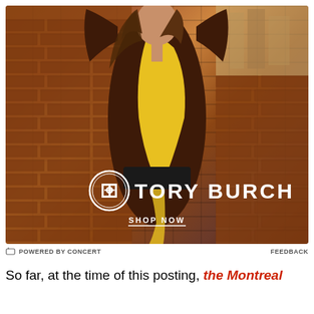[Figure (photo): Tory Burch advertisement showing a female model wearing a brown and yellow long-sleeve bodysuit/dress with arms raised, standing in front of a brick wall. The Tory Burch logo (circular T monogram) and brand name appear in white text. A 'SHOP NOW' call-to-action is underlined below the logo.]
POWERED BY CONCERT   FEEDBACK
So far, at the time of this posting, the Montreal